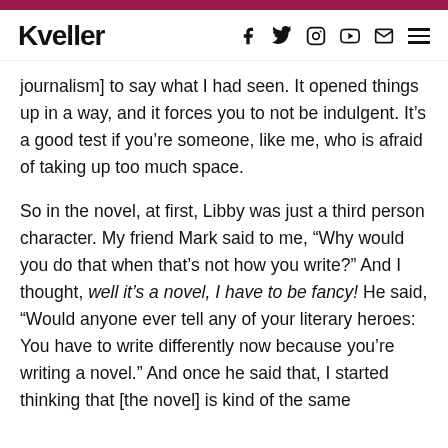Kveller
journalism] to say what I had seen. It opened things up in a way, and it forces you to not be indulgent. It’s a good test if you’re someone, like me, who is afraid of taking up too much space.
So in the novel, at first, Libby was just a third person character. My friend Mark said to me, “Why would you do that when that’s not how you write?” And I thought, well it’s a novel, I have to be fancy! He said, “Would anyone ever tell any of your literary heroes: You have to write differently now because you’re writing a novel.” And once he said that, I started thinking that [the novel] is kind of the same